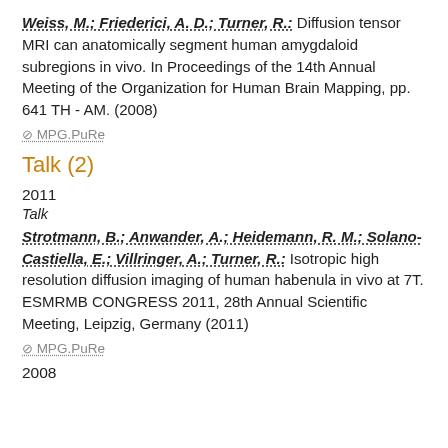Weiss, M.; Friederici, A. D.; Turner, R.: Diffusion tensor MRI can anatomically segment human amygdaloid subregions in vivo. In Proceedings of the 14th Annual Meeting of the Organization for Human Brain Mapping, pp. 641 TH - AM. (2008)
MPG.PuRe
Talk (2)
2011
Talk
Strotmann, B.; Anwander, A.; Heidemann, R. M.; Solano-Castiella, E.; Villringer, A.; Turner, R.: Isotropic high resolution diffusion imaging of human habenula in vivo at 7T. ESMRMB CONGRESS 2011, 28th Annual Scientific Meeting, Leipzig, Germany (2011)
MPG.PuRe
2008